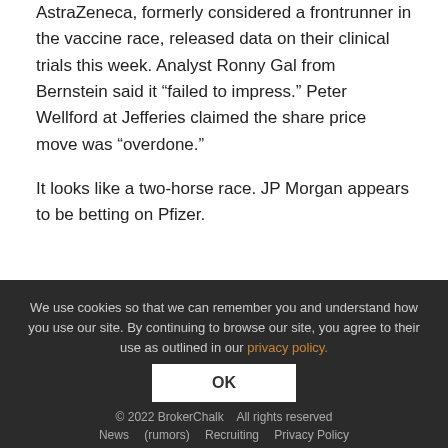AstraZeneca, formerly considered a frontrunner in the vaccine race, released data on their clinical trials this week. Analyst Ronny Gal from Bernstein said it “failed to impress.” Peter Wellford at Jefferies claimed the share price move was “overdone.”
It looks like a two-horse race. JP Morgan appears to be betting on Pfizer.
We use cookies so that we can remember you and understand how you use our site. By continuing to browse our site, you agree to their use as outlined in our privacy policy. OK © 2022 BrokerChalk All rights reserved News (rumors) Recruiting Privacy Policy